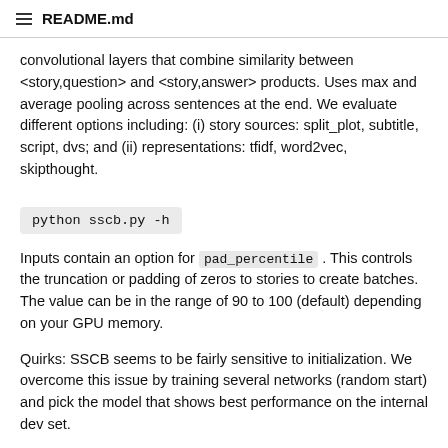README.md
convolutional layers that combine similarity between <story,question> and <story,answer> products. Uses max and average pooling across sentences at the end. We evaluate different options including: (i) story sources: split_plot, subtitle, script, dvs; and (ii) representations: tfidf, word2vec, skipthought.
python sscb.py -h
Inputs contain an option for pad_percentile . This controls the truncation or padding of zeros to stories to create batches. The value can be in the range of 90 to 100 (default) depending on your GPU memory.
Quirks: SSCB seems to be fairly sensitive to initialization. We overcome this issue by training several networks (random start) and pick the model that shows best performance on the internal dev set.